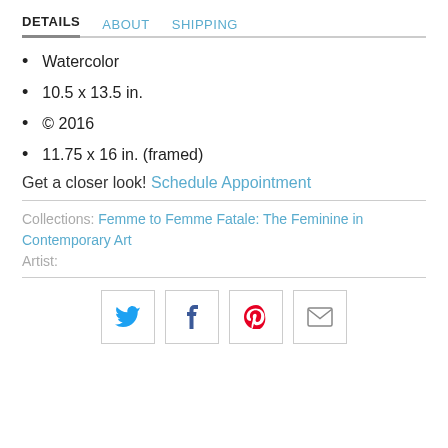DETAILS   ABOUT   SHIPPING
Watercolor
10.5 x 13.5 in.
© 2016
11.75 x 16 in. (framed)
Get a closer look! Schedule Appointment
Collections: Femme to Femme Fatale: The Feminine in Contemporary Art
Artist:
[Figure (other): Social share buttons: Twitter, Facebook, Pinterest, Email]